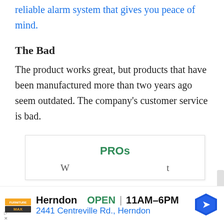reliable alarm system that gives you peace of mind.
The Bad
The product works great, but products that have been manufactured more than two years ago seem outdated. The company's customer service is bad.
[Figure (other): PROs box — a card/panel showing 'PROs' heading in green, partially cut off at bottom]
[Figure (other): Advertisement banner for Furniture Max store in Herndon, showing OPEN 11AM-6PM and address 2441 Centreville Rd., Herndon]